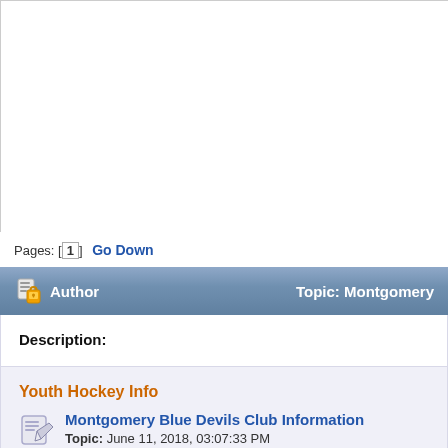Pages: [1]  Go Down
Author   Topic: Montgomery
Description:
Youth Hockey Info
Montgomery Blue Devils Club Information
Topic: June 11, 2018, 03:07:33 PM